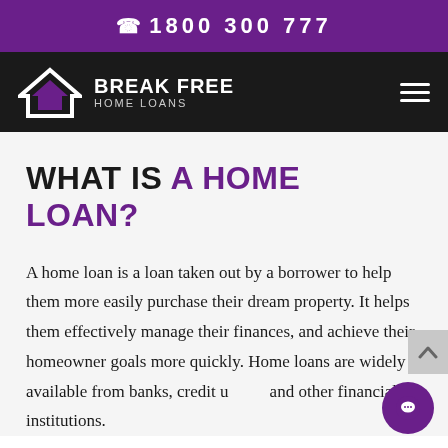1800 300 777
[Figure (logo): Break Free Home Loans logo with house/chevron icon on black navigation bar]
WHAT IS A HOME LOAN?
A home loan is a loan taken out by a borrower to help them more easily purchase their dream property. It helps them effectively manage their finances, and achieve their homeowner goals more quickly. Home loans are widely available from banks, credit unions and other financial institutions.